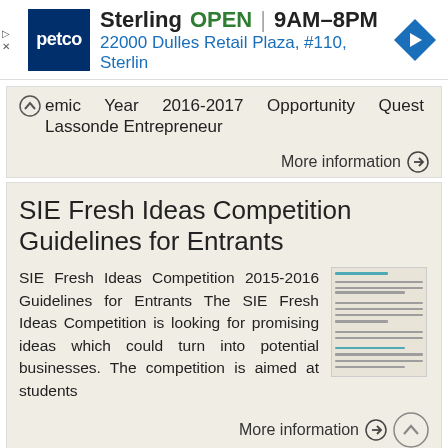[Figure (infographic): Petco advertisement banner: Petco logo (white text on dark blue square), Sterling location text, OPEN status in green, hours 9AM-8PM, address 22000 Dulles Retail Plaza, #110, Sterlin, blue diamond navigation arrow icon on right, close/skip controls on left]
emic Year 2016-2017 Opportunity Quest Lassonde Entrepreneur
More information →
SIE Fresh Ideas Competition Guidelines for Entrants
SIE Fresh Ideas Competition 2015-2016 Guidelines for Entrants The SIE Fresh Ideas Competition is looking for promising ideas which could turn into potential businesses. The competition is aimed at students
[Figure (screenshot): Small thumbnail image of a document page with text lines]
More information →